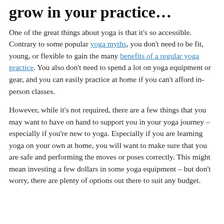grow in your practice…
One of the great things about yoga is that it's so accessible. Contrary to some popular yoga myths, you don't need to be fit, young, or flexible to gain the many benefits of a regular yoga practice. You also don't need to spend a lot on yoga equipment or gear, and you can easily practice at home if you can't afford in-person classes.
However, while it's not required, there are a few things that you may want to have on hand to support you in your yoga journey – especially if you're new to yoga. Especially if you are learning yoga on your own at home, you will want to make sure that you are safe and performing the moves or poses correctly. This might mean investing a few dollars in some yoga equipment – but don't worry, there are plenty of options out there to suit any budget.